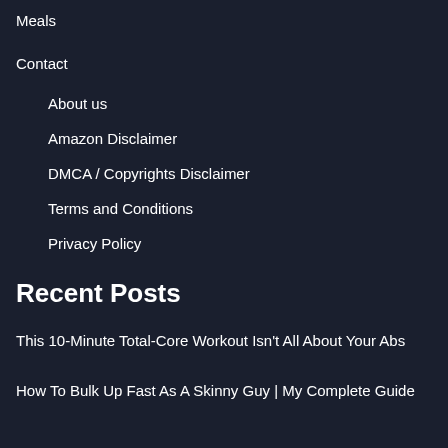Meals
Contact
About us
Amazon Disclaimer
DMCA / Copyrights Disclaimer
Terms and Conditions
Privacy Policy
Recent Posts
This 10-Minute Total-Core Workout Isn't All About Your Abs
How To Bulk Up Fast As A Skinny Guy | My Complete Guide
Vegetarian (Or Vegan) Foods To Eat After A Workout To Maximize Recovery